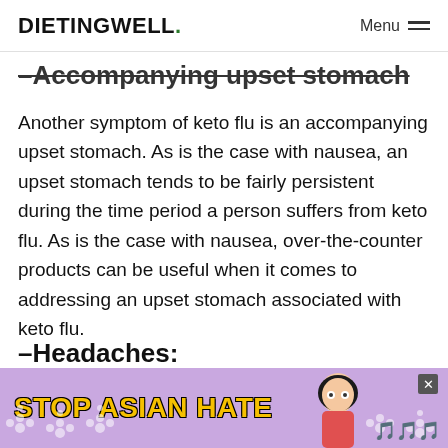DIETINGWELL. Menu
–Accompanying upset stomach
Another symptom of keto flu is an accompanying upset stomach. As is the case with nausea, an upset stomach tends to be fairly persistent during the time period a person suffers from keto flu. As is the case with nausea, over-the-counter products can be useful when it comes to addressing an upset stomach associated with keto flu.
–Headaches:
Many individuals experiences headaches with keto flu…
[Figure (other): Advertisement banner: STOP ASIAN HATE with purple floral background and cartoon character]